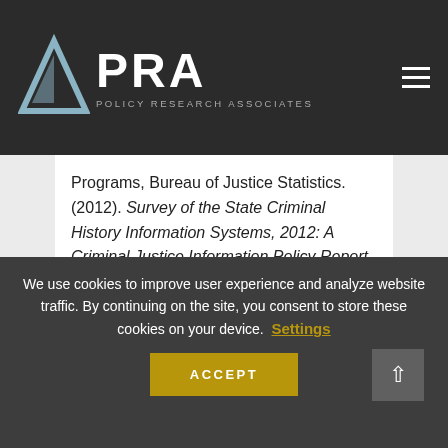[Figure (logo): PRA Policy Research Associates logo with triangle icon on dark background]
Programs, Bureau of Justice Statistics. (2012). Survey of the State Criminal History Information Systems, 2012: A Criminal Justice Information Policy Report. Washington, DC: Author.
♡ APPRECIATE
We use cookies to improve user experience and analyze website traffic. By continuing on the site, you consent to store these cookies on your device.
ACCEPT